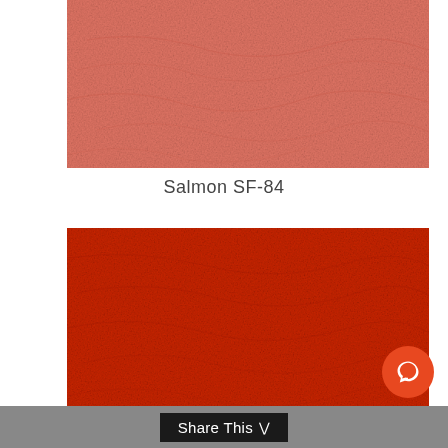[Figure (photo): Salmon-colored textured leather or vinyl fabric swatch, showing wrinkled surface texture in a warm salmon/coral hue.]
Salmon SF-84
[Figure (photo): Red textured leather or vinyl fabric swatch, showing a deep red/orange-red surface texture.]
Share This ∨